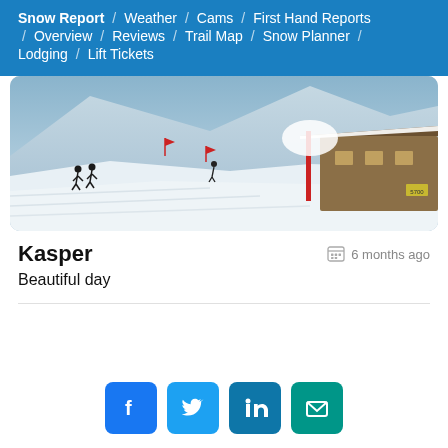Snow Report / Weather / Cams / First Hand Reports / Overview / Reviews / Trail Map / Snow Planner / Lodging / Lift Tickets
[Figure (photo): Ski slope with snow-covered terrain, a lodge/lift station building on the right, and skiers visible on the slope. Snow flags visible in the background.]
Kasper
6 months ago
Beautiful day